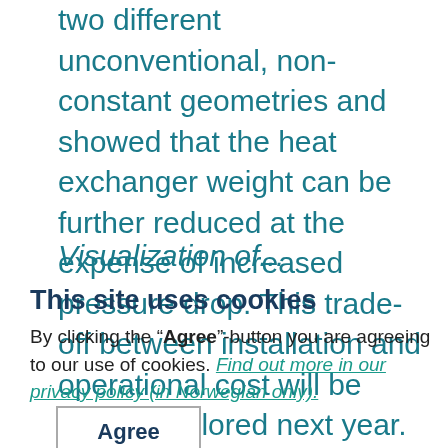two different unconventional, non-constant geometries and showed that the heat exchanger weight can be further reduced at the expense of increased pressure drop. This trade-off between installation and operational cost will be further explored next year.
Visualization of ...
This site uses cookies
By clicking the "Agree"-button you are agreeing to our use of cookies. Find out more in our privacy policy (in Norwegian only).
Agree